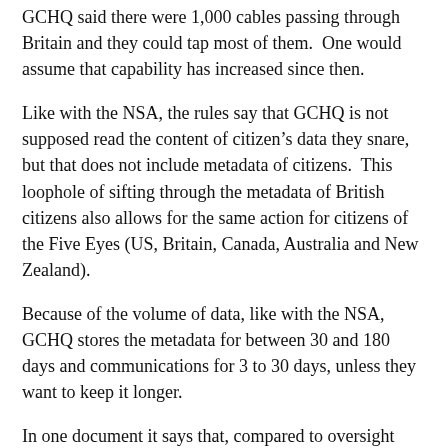GCHQ said there were 1,000 cables passing through Britain and they could tap most of them.  One would assume that capability has increased since then.
Like with the NSA, the rules say that GCHQ is not supposed read the content of citizen’s data they snare, but that does not include metadata of citizens.  This loophole of sifting through the metadata of British citizens also allows for the same action for citizens of the Five Eyes (US, Britain, Canada, Australia and New Zealand).
Because of the volume of data, like with the NSA, GCHQ stores the metadata for between 30 and 180 days and communications for 3 to 30 days, unless they want to keep it longer.
In one document it says that, compared to oversight rules in the U.S., the U.K. has “a light oversight regime”.